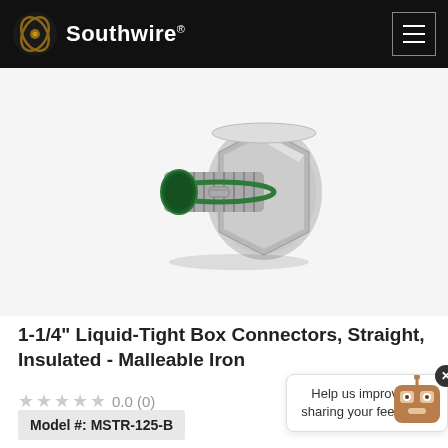Southwire
[Figure (photo): 1-1/4 inch Liquid-Tight Box Connector, straight insulated malleable iron fitting with green O-ring seal and threaded ends, silver metallic finish, photographed on light gray background]
1-1/4" Liquid-Tight Box Connectors, Straight, Insulated - Malleable Iron
0.0 (0)
Model #: MSTR-125-B
Help us improve by sharing your feedback.